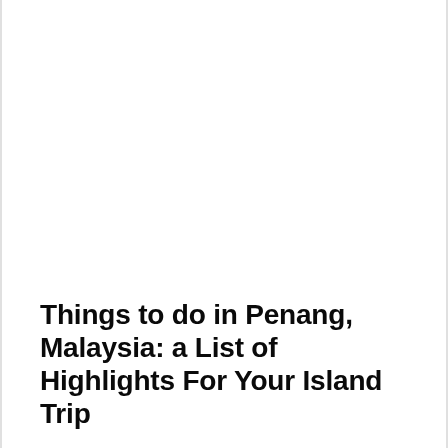Things to do in Penang, Malaysia: a List of Highlights For Your Island Trip